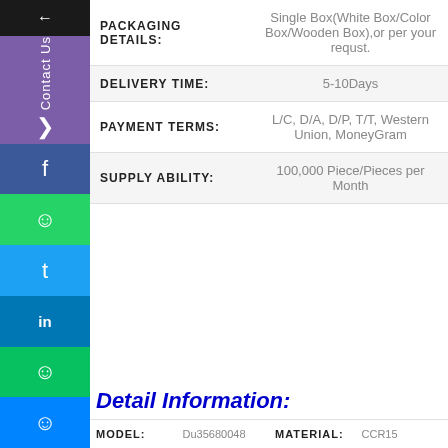| Field | Value |
| --- | --- |
| PACKAGING DETAILS: | Single Box(White Box/Color Box/Wooden Box),or per your requst. |
| DELIVERY TIME: | 5-10Days |
| PAYMENT TERMS: | L/C, D/A, D/P, T/T, Western Union, MoneyGram |
| SUPPLY ABILITY: | 100,000 Piece/Pieces per Month |
Detail Information:
| MODEL: | Du35680048 | MATERIAL: | CCR15 |
| --- | --- | --- | --- |